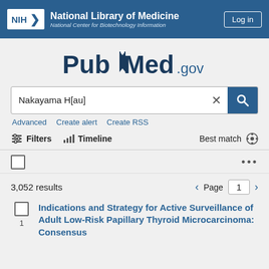NIH National Library of Medicine - National Center for Biotechnology Information
[Figure (logo): PubMed.gov logo with bookmark icon]
Nakayama H[au]
Advanced  Create alert  Create RSS
Filters  Timeline  Best match
3,052 results  Page 1
Indications and Strategy for Active Surveillance of Adult Low-Risk Papillary Thyroid Microcarcinoma: Consensus